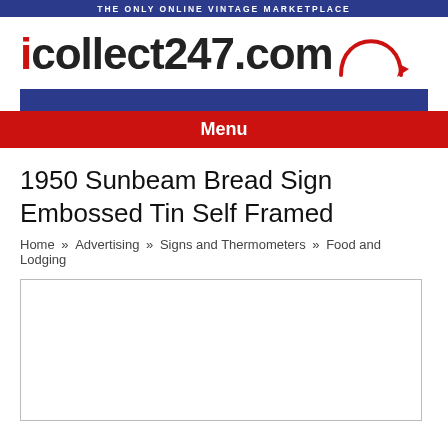THE ONLY ONLINE VINTAGE MARKETPLACE
[Figure (logo): icollect247.com logo with red 'i', dark text, and red circular arrow graphic]
Menu
1950 Sunbeam Bread Sign Embossed Tin Self Framed
Home » Advertising » Signs and Thermometers » Food and Lodging
[Figure (photo): Empty white image box with border, placeholder for product photo]